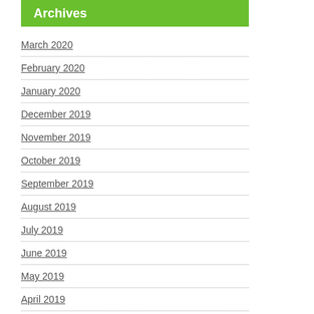Archives
March 2020
February 2020
January 2020
December 2019
November 2019
October 2019
September 2019
August 2019
July 2019
June 2019
May 2019
April 2019
March 2019
February 2019